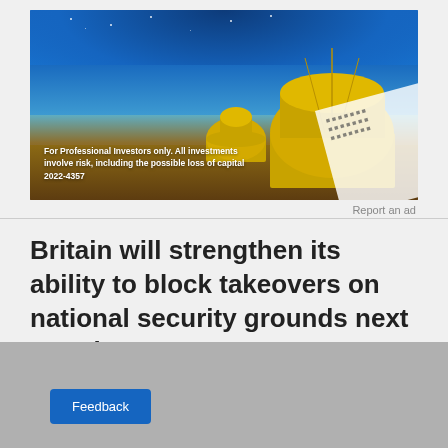[Figure (photo): Advertisement photo of astronomical observatory domes at night with starry blue sky. Text overlay reads: 'For Professional Investors only. All investments involve risk, including the possible loss of capital 2022-4357']
Report an ad
Britain will strengthen its ability to block takeovers on national security grounds next month.
[Figure (other): Gray placeholder area with a blue Feedback button]